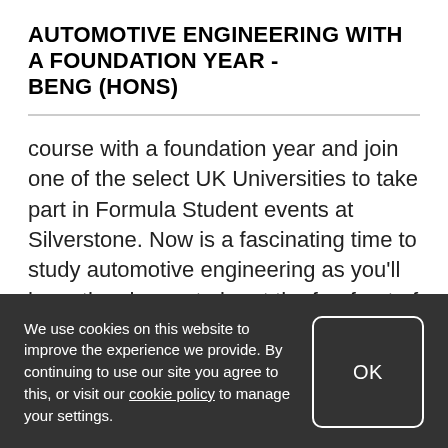AUTOMOTIVE ENGINEERING WITH A FOUNDATION YEAR - BENG (HONS)
course with a foundation year and join one of the select UK Universities to take part in Formula Student events at Silverstone. Now is a fascinating time to study automotive engineering as you'll have the chance to be at the forefront of developments within the industry....
We use cookies on this website to improve the experience we provide. By continuing to use our site you agree to this, or visit our cookie policy to manage your settings.